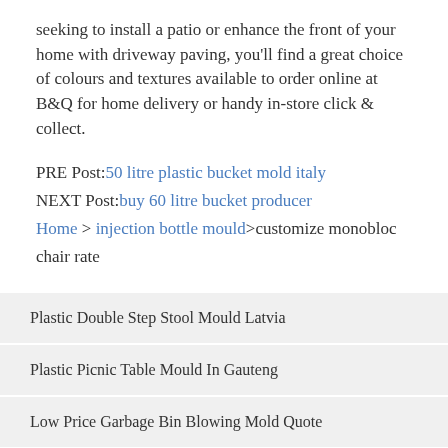seeking to install a patio or enhance the front of your home with driveway paving, you'll find a great choice of colours and textures available to order online at B&Q for home delivery or handy in-store click & collect.
PRE Post: 50 litre plastic bucket mold italy
NEXT Post: buy 60 litre bucket producer
Home > injection bottle mould>customize monobloc chair rate
Plastic Double Step Stool Mould Latvia
Plastic Picnic Table Mould In Gauteng
Low Price Garbage Bin Blowing Mold Quote